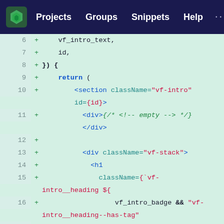Projects  Groups  Snippets  Help
[Figure (screenshot): Code diff view showing JSX/React code lines 6-22 with added lines (green +) displaying a section element with className vf-intro, div elements, h1 with className template literal including vf_intro_badge conditional, and JSX expressions for vf_intro_heading, vf_intro_badge, closing h1, and start of vf_intro_subheading]